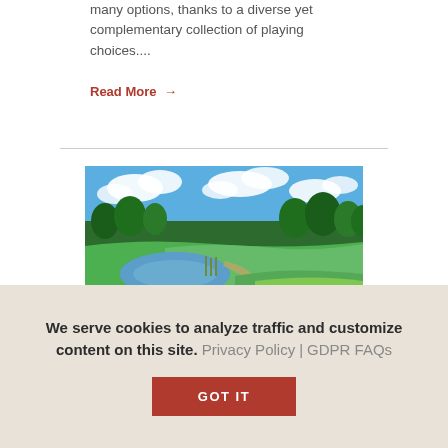many options, thanks to a diverse yet complementary collection of playing choices....
Read More →
[Figure (photo): Golf course with green fairways, a small pond or water hazard, trees in the background, and a bright blue sky with white clouds.]
We serve cookies to analyze traffic and customize content on this site. Privacy Policy | GDPR FAQs
GOT IT